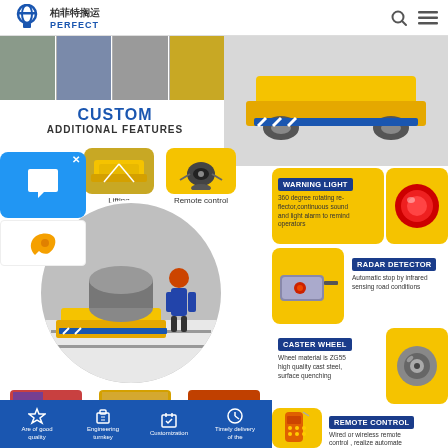PERFECT 柏菲特搁运 — navigation header with search and menu icons
[Figure (photo): Strip of 4 industrial transfer cart product photos across top left]
[Figure (photo): Large yellow heavy-duty transfer cart on rails, right side top]
CUSTOM ADDITIONAL FEATURES
[Figure (photo): Feature icons: Lifting unit, Remote control device]
[Figure (photo): Blue chat popup overlay with phone icon]
[Figure (photo): Circular photo of worker operating yellow transfer cart in factory]
[Figure (photo): Bottom row: Rubber surface material, Fire-resistant material, Operation table]
Rubber surface   Fire-resistant material   Operation table
[Figure (infographic): Blue bottom bar with icons: Are of good quality, Engineering turnkey, Customization, Timely delivery of the]
[Figure (photo): WARNING LIGHT — 360 degree rotating reflector,continuous sound and light alarm to remind operators — red warning light image]
[Figure (photo): RADAR DETECTOR — Automatic stop by infrared sensing road conditions — radar sensor device image]
[Figure (photo): CASTER WHEEL — Wheel material is ZG55 high quality cast steel, surface quenching — caster wheel image]
[Figure (photo): REMOTE CONTROL — Wired or wireless remote control, realize automate operation — remote control device image]